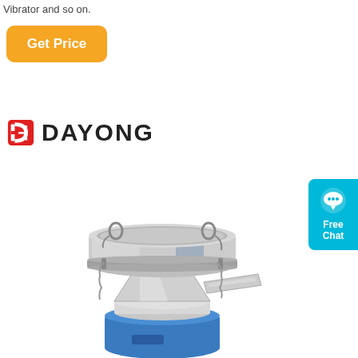Vibrator and so on.
[Figure (other): Orange rounded rectangle button labeled 'Get Price']
[Figure (logo): Dayong company logo with red stylized 'D' icon and bold black 'DAYONG' text]
[Figure (photo): Stainless steel vibrating sieve/filter machine with a round bowl on top, a conical funnel section, a flat discharge spout, and a blue cylindrical motor base]
[Figure (other): Cyan/teal rounded rectangle button on right edge with chat bubble icon and text 'Free Chat']